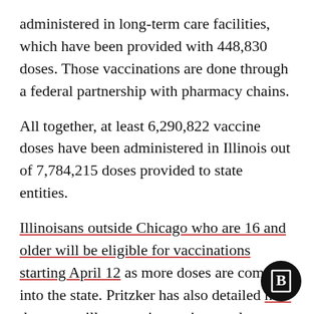administered in long-term care facilities, which have been provided with 448,830 doses. Those vaccinations are done through a federal partnership with pharmacy chains.
All together, at least 6,290,822 vaccine doses have been administered in Illinois out of 7,784,215 doses provided to state entities.
Illinoisans outside Chicago who are 16 and older will be eligible for vaccinations starting April 12 as more doses are coming into the state. Pritzker has also detailed how the state will reopen in coming weeks — as long as more people are vaccinated and COVID-19 cases and deaths don't surge.
[Figure (logo): Black circular logo with white letter B inside a square outline]